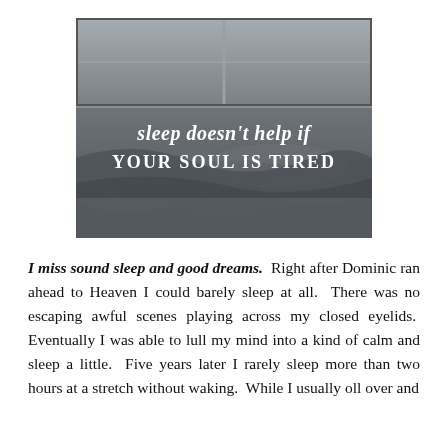[Figure (photo): Grayscale photo of rumpled bedding/blankets in foreground with a window visible in background. Overlaid text reads: 'sleep doesn't help if YOUR SOUL IS TIRED']
I miss sound sleep and good dreams.  Right after Dominic ran ahead to Heaven I could barely sleep at all.  There was no escaping awful scenes playing across my closed eyelids.  Eventually I was able to lull my mind into a kind of calm and sleep a little.  Five years later I rarely sleep more than two hours at a stretch without waking.  While I usuallyoll over and